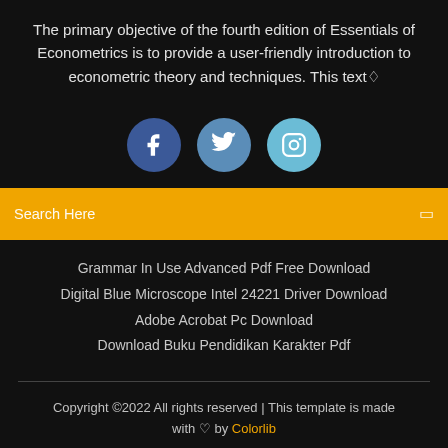The primary objective of the fourth edition of Essentials of Econometrics is to provide a user-friendly introduction to econometric theory and techniques. This text♢
[Figure (illustration): Three social media icons: Facebook (dark blue circle with f), Twitter (medium blue circle with bird), Instagram (light blue circle with camera)]
Search Here
Grammar In Use Advanced Pdf Free Download
Digital Blue Microscope Intel 24221 Driver Download
Adobe Acrobat Pc Download
Download Buku Pendidikan Karakter Pdf
Copyright ©2022 All rights reserved | This template is made with ♡ by Colorlib